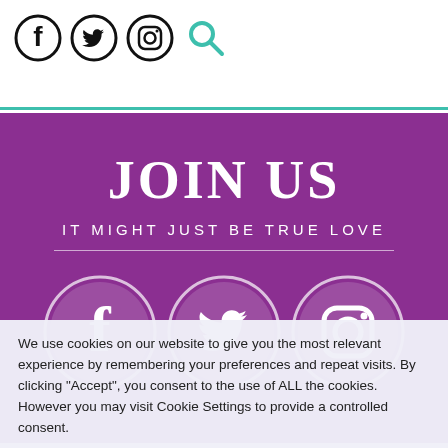[Figure (illustration): Header bar with social media icons: Facebook, Twitter, Instagram (black circle outlines), and a teal/green search icon]
JOIN US
IT MIGHT JUST BE TRUE LOVE
[Figure (illustration): Three white circle social media icons on purple background: Facebook, Twitter, Instagram]
We use cookies on our website to give you the most relevant experience by remembering your preferences and repeat visits. By clicking “Accept”, you consent to the use of ALL the cookies. However you may visit Cookie Settings to provide a controlled consent.
Cookie settings
ACCEPT